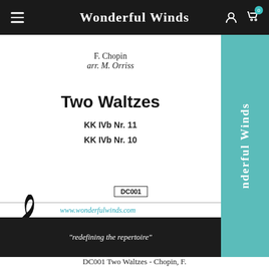Wonderful Winds
[Figure (illustration): Sheet music cover for 'Two Waltzes' by F. Chopin, arr. M. Orriss (DC001). White background with teal sidebar reading 'nderful Winds' vertically, treble clef icon at bottom left, DC001 catalogue box, www.wonderfulwinds.com URL, and black bar with tagline 'redefining the repertoire'.]
DC001 Two Waltzes - Chopin, F.